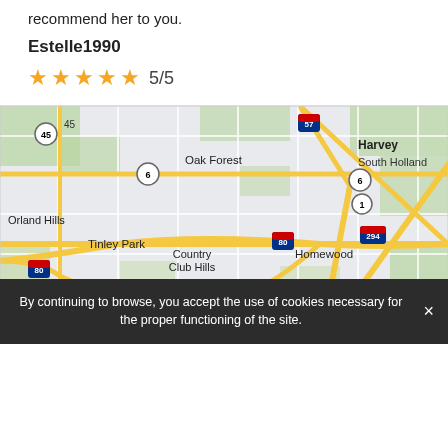recommend her to you.
Estelle1990
★★★★★ 5/5
[Figure (map): Street map of south suburban Chicago area showing neighborhoods including Oak Forest, Orland Hills, Tinley Park, Country Club Hills, Homewood, Harvey, South Holland, Flossmoor, Glenwood, Frankfort Square, Olympia Fields, Matteson, Chicago Heights, with highway markers for I-57, I-80, I-294, Route 6, Route 1, Route 45, Route 30.]
By continuing to browse, you accept the use of cookies necessary for the proper functioning of the site.